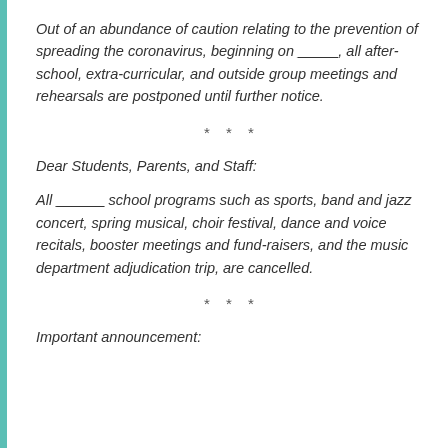Out of an abundance of caution relating to the prevention of spreading the coronavirus, beginning on _____, all after-school, extra-curricular, and outside group meetings and rehearsals are postponed until further notice.
* * *
Dear Students, Parents, and Staff:
All ______ school programs such as sports, band and jazz concert, spring musical, choir festival, dance and voice recitals, booster meetings and fund-raisers, and the music department adjudication trip, are cancelled.
* * *
Important announcement: